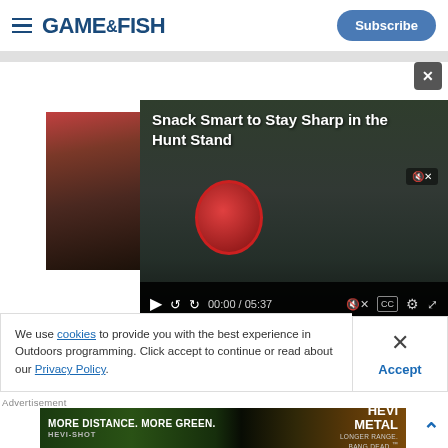GAME&FISH | Subscribe
[Figure (screenshot): Video player showing 'Snack Smart to Stay Sharp in the Hunt Stand' with controls showing 00:00 / 05:37, mute, CC, settings, and fullscreen buttons]
We use cookies to provide you with the best experience in Outdoors programming. Click accept to continue or read about our Privacy Policy.
Advertisement
[Figure (photo): HEVI-METAL advertisement banner: MORE DISTANCE. MORE GREEN. HEVI-SHOT | HEVI METAL LONGER RANGE. BANG DEAD.]